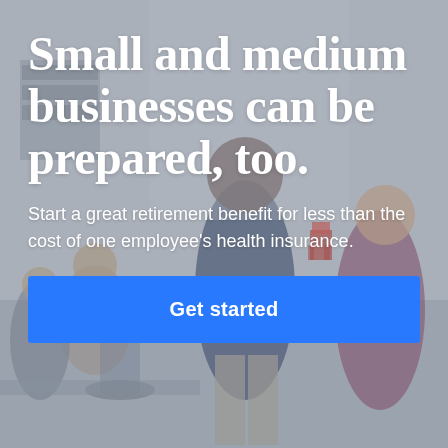[Figure (photo): Background photo of diverse office workers in a bright modern workplace, with a blue-gray semi-transparent overlay. People are smiling and interacting in a casual business setting.]
Small and medium businesses can be prepared, too.
Start a great retirement benefit for less than the cost of one employee's health insurance.
Get started